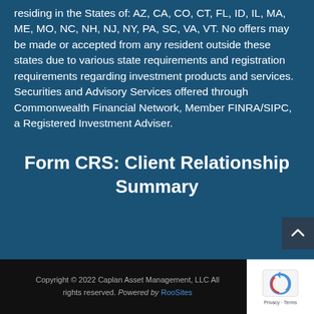residing in the States of: AZ, CA, CO, CT, FL, ID, IL, MA, ME, MO, NC, NH, NJ, NY, PA, SC, VA, VT. No offers may be made or accepted from any resident outside these states due to various state requirements and registration requirements regarding investment products and services. Securities and Advisory Services offered through Commonwealth Financial Network, Member FINRA/SIPC, a Registered Investment Adviser.
Form CRS: Client Relationship Summary
Copyright © 2022 Caplan Asset Management, LLC All rights reserved. Powered by RooSites